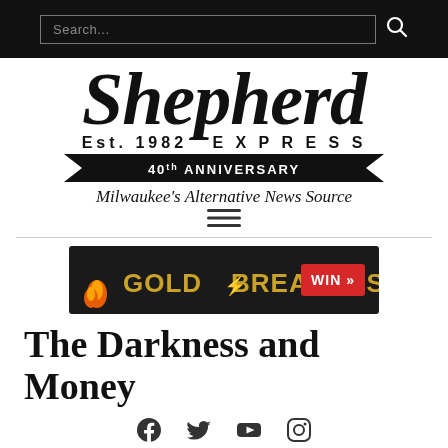[Figure (screenshot): Black search bar with text input field reading 'Search...' and a search icon]
[Figure (logo): Shepherd Express logo: large italic 'Shepherd' text, 'Est. 1982 EXPRESS' beneath, black banner '40th ANNIVERSARY', tagline 'Milwaukee's Alternative News Source']
[Figure (infographic): GOLDBREAKERS advertisement banner with fire and gold text on dark background, WIN button in red]
The Darkness and Money
[Figure (infographic): Social media icons: Facebook, Twitter, YouTube, Instagram]